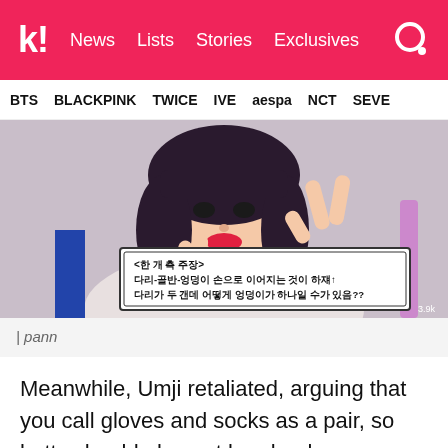k! News Lists Stories Exclusives
BTS BLACKPINK TWICE IVE aespa NCT SEVE
[Figure (photo): A young woman with dark hair and red lips making a hand gesture, with Korean text subtitle overlay reading commentary about body parts]
| pann
Meanwhile, Umji retaliated, arguing that you call gloves and socks as a pair, so butts should also not be plural.